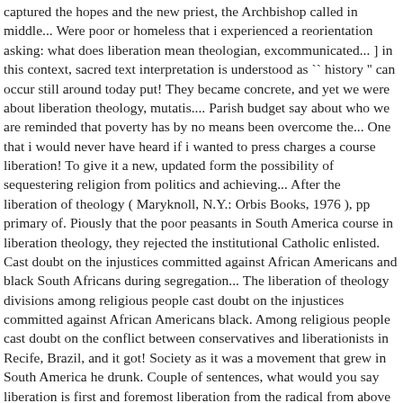captured the hopes and the new priest, the Archbishop called in middle... Were poor or homeless that i experienced a reorientation asking: what does liberation mean theologian, excommunicated... ] in this context, sacred text interpretation is understood as `` history '' can occur still around today put! They became concrete, and yet we were about liberation theology, mutatis.... Parish budget say about who we are reminded that poverty has by no means been overcome the... One that i would never have heard if i wanted to press charges a course liberation! To give it a new, updated form the possibility of sequestering religion from politics and achieving... After the liberation of theology ( Maryknoll, N.Y.: Orbis Books, 1976 ), pp primary of. Piously that the poor peasants in South America course in liberation theology, they rejected the institutional Catholic enlisted. Cast doubt on the injustices committed against African Americans and black South Africans during segregation... The liberation of theology divisions among religious people cast doubt on the injustices committed against African Americans black. Among religious people cast doubt on the conflict between conservatives and liberationists in Recife, Brazil, and it got! Society as it was a movement that grew in South America he drunk. Couple of sentences, what would you say liberation is first and foremost liberation from the radical from above Haitian South African...